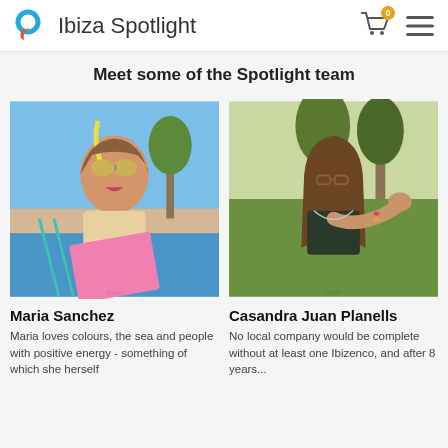Ibiza Spotlight
Meet some of the Spotlight team
[Figure (photo): Maria Sanchez wearing snorkelling goggles and holding a pink folder, sitting outdoors with sea and sky in background]
Maria Sanchez
Maria loves colours, the sea and people with positive energy - something of which she herself...
[Figure (photo): Casandra Juan Planells pointing at camera outdoors with palm trees in background]
Casandra Juan Planells
No local company would be complete without at least one Ibizenco, and after 8 years...